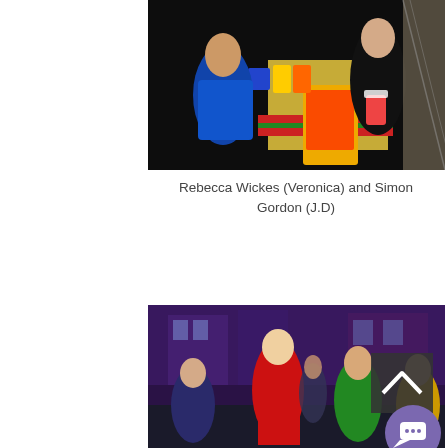[Figure (photo): Theater production photo: A girl in a blue dress leans over a convenience store counter. A person in black sits on the counter holding a drink cup. Colorful snacks and a 7-Eleven-style Slurpee machine visible in background.]
Rebecca Wickes (Veronica) and Simon Gordon (J.D)
[Figure (photo): Theater production photo: Stage performers in colorful outfits (red plaid skirt, green jacket, yellow jacket, dark navy) dancing in a purple-lit theatrical set. A scroll-up button and chat button overlay are visible.]